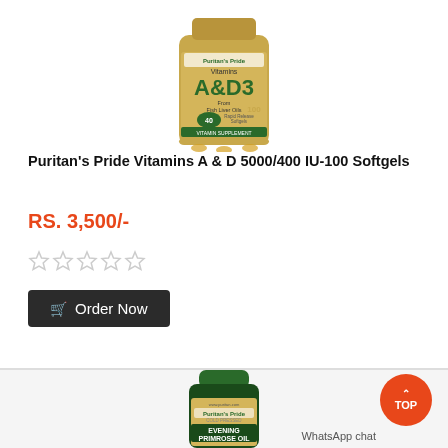[Figure (photo): Puritan's Pride Vitamins A & D3 supplement bottle with gold label, showing fish liver oils, 100 softgels]
Puritan's Pride Vitamins A & D 5000/400 IU-100 Softgels
RS. 3,500/-
[Figure (other): Five empty/outline star rating icons]
Order Now
[Figure (photo): Puritan's Pride Cold Pressed Evening Primrose Oil 1000mg supplement bottle with dark green label and green cap]
WhatsApp chat